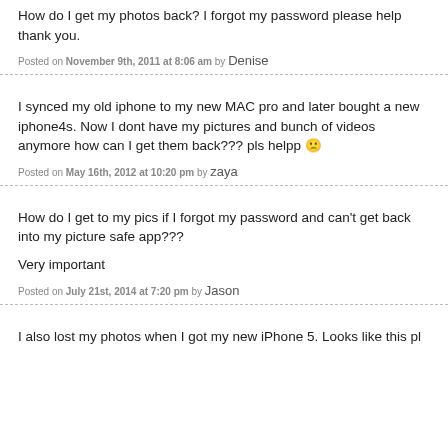How do I get my photos back? I forgot my password please help thank you.
Posted on November 9th, 2011 at 8:06 am by Denise
I synced my old iphone to my new MAC pro and later bought a new iphone4s. Now I dont have my pictures and bunch of videos anymore how can I get them back??? pls helpp 🙁
Posted on May 16th, 2012 at 10:20 pm by zaya
How do I get to my pics if I forgot my password and can't get back into my picture safe app???
Very important
Posted on July 21st, 2014 at 7:20 pm by Jason
I also lost my photos when I got my new iPhone 5. Looks like this pl...